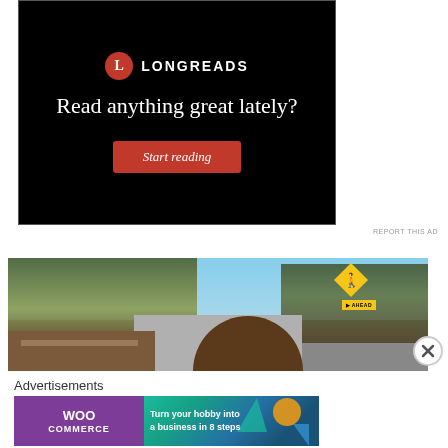[Figure (other): Longreads advertisement with black background, red circle L logo, text 'Read anything great lately?' and a red 'Start reading' button]
[Figure (photo): Outdoor photo showing trees, a road, blue sky, and a pedestrian crossing ahead sign with a person's brown hair at the bottom of the frame. A close/dismiss button (X) appears at bottom right.]
Advertisements
[Figure (other): WooCommerce advertisement: 'Turn your hobby into a business in 8 steps' with purple/teal/orange gradient background]